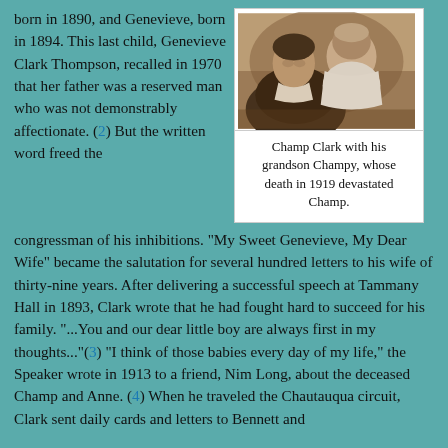born in 1890, and Genevieve, born in 1894. This last child, Genevieve Clark Thompson, recalled in 1970 that her father was a reserved man who was not demonstrably affectionate. (2) But the written word freed the congressman of his inhibitions.
[Figure (photo): Sepia photograph of Champ Clark holding his grandson Champy]
Champ Clark with his grandson Champy, whose death in 1919 devastated Champ.
"My Sweet Genevieve, My Dear Wife" became the salutation for several hundred letters to his wife of thirty-nine years. After delivering a successful speech at Tammany Hall in 1893, Clark wrote that he had fought hard to succeed for his family. "...You and our dear little boy are always first in my thoughts..."(3) "I think of those babies every day of my life," the Speaker wrote in 1913 to a friend, Nim Long, about the deceased Champ and Anne. (4) When he traveled the Chautauqua circuit, Clark sent daily cards and letters to Bennett and